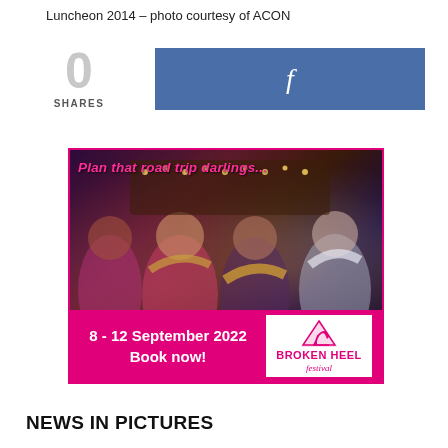Luncheon 2014 – photo courtesy of ACON
0 SHARES
[Figure (other): Facebook share button bar with blue background and white 'f' logo]
[Figure (infographic): Broken Heel Festival advertisement. Text: 'Plan that road trip darlings...' Photo of women in colourful costumes laughing. Bottom bar: '8 - 12 September 2022 Book now!' with Broken Heel festival logo.]
NEWS IN PICTURES